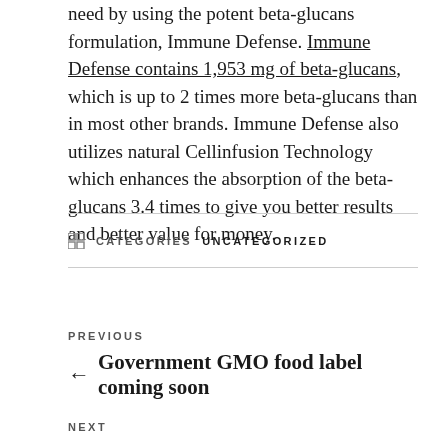need by using the potent beta-glucans formulation, Immune Defense. Immune Defense contains 1,953 mg of beta-glucans, which is up to 2 times more beta-glucans than in most other brands. Immune Defense also utilizes natural Cellinfusion Technology which enhances the absorption of the beta-glucans 3.4 times to give you better results and better value for money.
CATEGORIES: UNCATEGORIZED
PREVIOUS
← Government GMO food label coming soon
NEXT